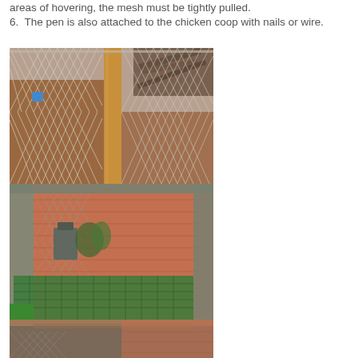areas of hovering, the mesh must be tightly pulled.
6. The pen is also attached to the chicken coop with nails or wire.
[Figure (photo): Three stacked photographs showing chicken pen wire mesh fencing construction. Top photo: chain-link/wire mesh fencing with a wooden post in a dirt yard. Middle photo: close-up view of metal mesh pen enclosure with green mesh floor and chicken coop structure behind it. Bottom photo: partial view showing roofing and mesh of the pen from a different angle.]